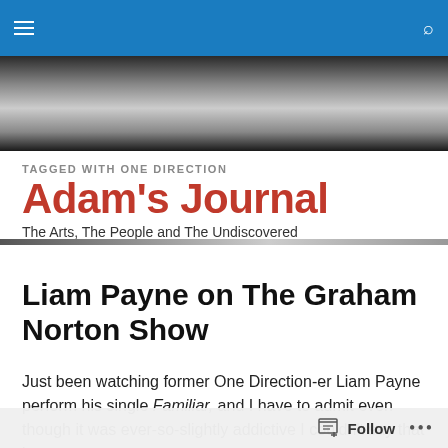Adam's Journal — The Arts, The People and The Undiscovered
TAGGED WITH ONE DIRECTION
Liam Payne on The Graham Norton Show
Just been watching former One Direction-er Liam Payne perform his single Familiar, and I have to admit even though it was ever-so-slightly addictive I couldn't say that it